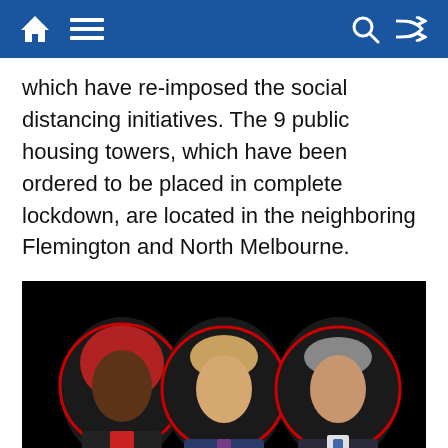[navigation bar with home, menu, search, shuffle icons]
which have re-imposed the social distancing initiatives. The 9 public housing towers, which have been ordered to be placed in complete lockdown, are located in the neighboring Flemington and North Melbourne.
[Figure (photo): Screenshot of a video showing three people with red circles drawn around their faces on a black background. A woman wearing a red headscarf on the left, a man in a suit in the center, and an older man in a suit on the right. Bottom-left has small text about a building fund. Bottom-right shows a 'Privacy & Cookies Policy' overlay and a blue scroll-up button.]